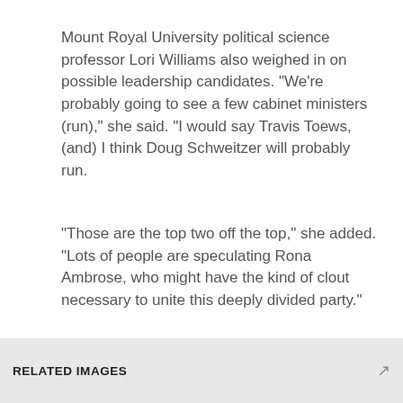Mount Royal University political science professor Lori Williams also weighed in on possible leadership candidates. "We're probably going to see a few cabinet ministers (run)," she said. "I would say Travis Toews, (and) I think Doug Schweitzer will probably run.
"Those are the top two off the top," she added. "Lots of people are speculating Rona Ambrose, who might have the kind of clout necessary to unite this deeply divided party."
With files from Timm Bruch and CTV News Edmonton's Sean Amato and Chelan Skulski
RELATED IMAGES